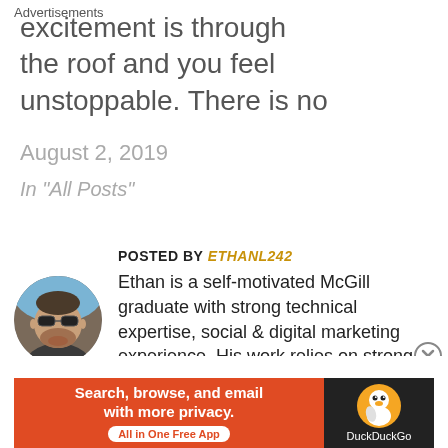excitement is through the roof and you feel unstoppable. There is no
August 2, 2019
In "All Posts"
POSTED BY ETHANL242
Ethan is a self-motivated McGill graduate with strong technical expertise, social & digital marketing experience. His work relies on strong communication skills and experience interacting
[Figure (photo): Circular avatar photo of a man wearing sunglasses outdoors]
Advertisements
[Figure (screenshot): DuckDuckGo advertisement banner: orange section with 'Search, browse, and email with more privacy. All in One Free App' text, and dark section with DuckDuckGo duck logo]